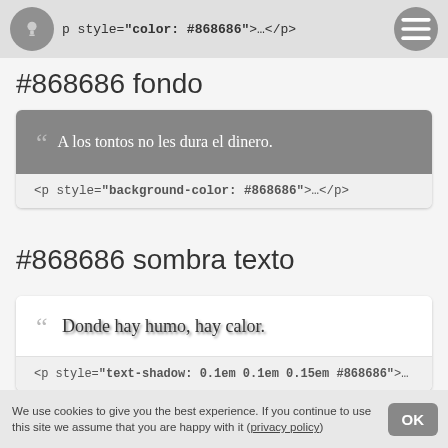p style="color: #868686">…</p>
#868686 fondo
" A los tontos no les dura el dinero.
<p style="background-color: #868686">…</p>
#868686 sombra texto
" Donde hay humo, hay calor.
<p style="text-shadow: 0.1em 0.1em 0.15em #868686">…
We use cookies to give you the best experience. If you continue to use this site we assume that you are happy with it (privacy policy)